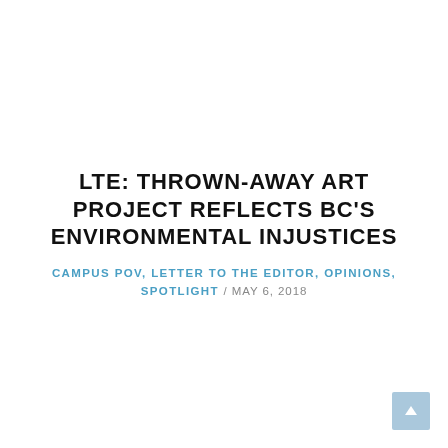LTE: THROWN-AWAY ART PROJECT REFLECTS BC'S ENVIRONMENTAL INJUSTICES
CAMPUS POV, LETTER TO THE EDITOR, OPINIONS, SPOTLIGHT / MAY 6, 2018